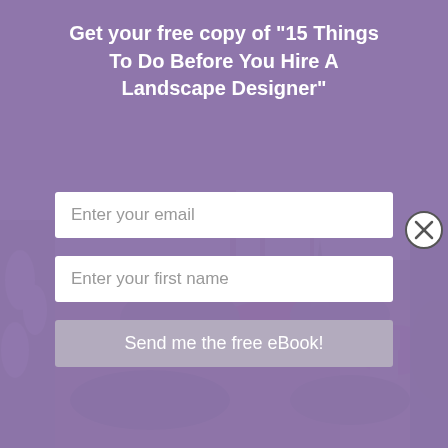Get your free copy of "15 Things To Do Before You Hire A Landscape Designer"
[Figure (screenshot): Email input field with placeholder text 'Enter your email']
[Figure (screenshot): First name input field with placeholder text 'Enter your first name']
[Figure (screenshot): Submit button labeled 'Send me the free eBook!']
[Figure (photo): Garden photograph showing colorful flower beds with red and pink flowers, garden furniture (white chair), stone patio, trees and shrubs in background]